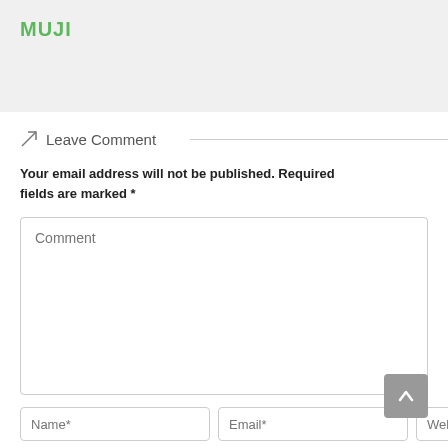[Figure (logo): MUJI logo in green text on light grey background header bar]
Leave Comment
Your email address will not be published. Required fields are marked *
[Figure (screenshot): Comment textarea input box with placeholder text 'Comment']
[Figure (screenshot): Three input fields at bottom: Name*, Email*, Website]